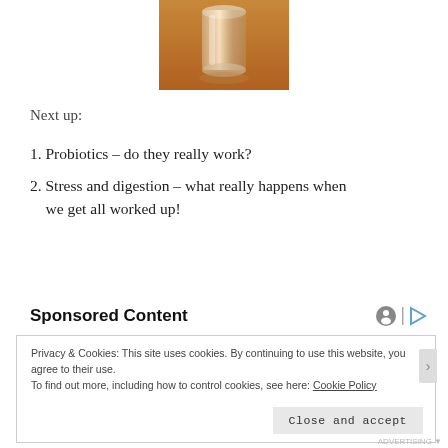[Figure (photo): Photo of a glass jar/bottle on a warm orange/brown surface, partially cropped at top]
Next up:
1. Probiotics – do they really work?
2. Stress and digestion – what really happens when we get all worked up!
Sponsored Content
Privacy & Cookies: This site uses cookies. By continuing to use this website, you agree to their use.
To find out more, including how to control cookies, see here: Cookie Policy